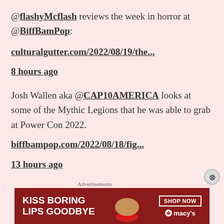@flashyMcflash reviews the week in horror at @BiffBamPop:
culturalgutter.com/2022/08/19/the...
8 hours ago
Josh Wallen aka @CAP10AMERICA looks at some of the Mythic Legions that he was able to grab at Power Con 2022.
biffbampop.com/2022/08/18/fig...
13 hours ago
[Figure (other): Macy's advertisement banner reading 'KISS BORING LIPS GOODBYE' with a woman's face showing red lips, and a 'SHOP NOW' button with the Macy's star logo]